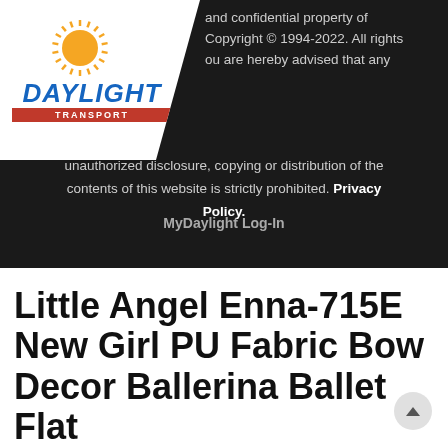[Figure (logo): Daylight Transport logo: circular sun graphic with radiating rays in yellow/orange, with 'DAYLIGHT' in bold blue italic text and 'TRANSPORT' in a red bar below, on a white angled panel]
and confidential property of Copyright © 1994-2022. All rights you are hereby advised that any unauthorized disclosure, copying or distribution of the contents of this website is strictly prohibited. Privacy Policy.
MyDaylight Log-In
Little Angel Enna-715E New Girl PU Fabric Bow Decor Ballerina Ballet Flat